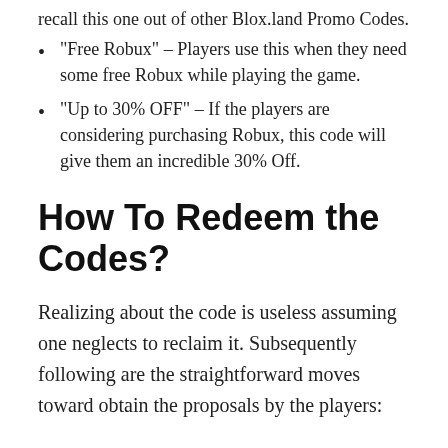recall this one out of other Blox.land Promo Codes.
“Free Robux” – Players use this when they need some free Robux while playing the game.
“Up to 30% OFF” – If the players are considering purchasing Robux, this code will give them an incredible 30% Off.
How To Redeem the Codes?
Realizing about the code is useless assuming one neglects to reclaim it. Subsequently following are the straightforward moves toward obtain the proposals by the players: